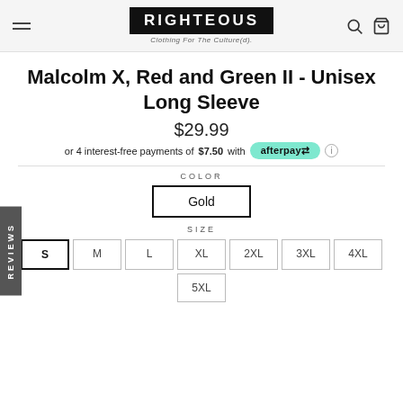RIGHTEOUS — Clothing For The Culture(d).
Malcolm X, Red and Green II - Unisex Long Sleeve
$29.99
or 4 interest-free payments of $7.50 with afterpay
COLOR
Gold
SIZE
S
M
L
XL
2XL
3XL
4XL
5XL